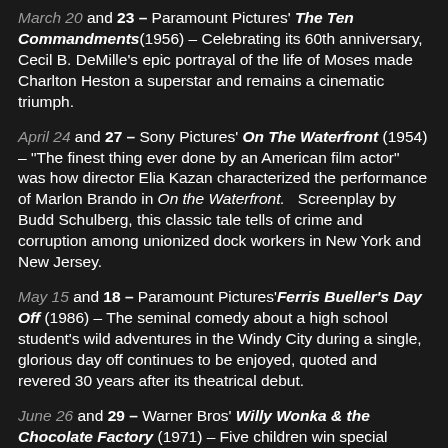March 20 and 23 – Paramount Pictures' The Ten Commandments (1956) – Celebrating its 60th anniversary, Cecil B. DeMille's epic portrayal of the life of Moses made Charlton Heston a superstar and remains a cinematic triumph.
April 24 and 27 – Sony Pictures' On The Waterfront (1954) – "The finest thing ever done by an American film actor" was how director Elia Kazan characterized the performance of Marlon Brando in On the Waterfront.   Screenplay by Budd Schulberg, this classic tale tells of crime and corruption among unionized dock workers in New York and New Jersey.
May 15 and 18 – Paramount Pictures' Ferris Bueller's Day Off (1986) – The seminal comedy about a high school student's wild adventures in the Windy City during a single, glorious day off continues to be enjoyed, quoted and revered 30 years after its theatrical debut.
June 26 and 29 – Warner Bros' Willy Wonka & the Chocolate Factory (1971) – Five children win special tickets entitling them to a lifetime supply of candy and a